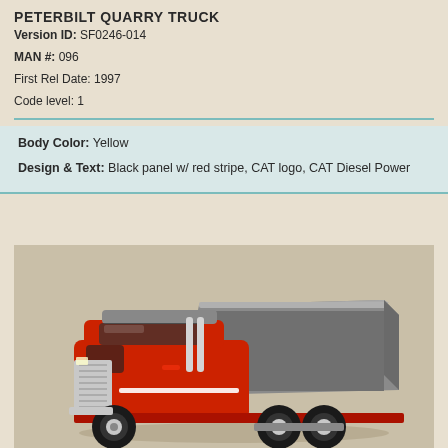PETERBILT QUARRY TRUCK
Version ID: SF0246-014
MAN #: 096
First Rel Date: 1997
Code level: 1
Body Color: Yellow
Design & Text: Black panel w/ red stripe, CAT logo, CAT Diesel Power
[Figure (photo): Die-cast model toy of a red Peterbilt quarry dump truck with grey dump bed, chrome details, and black wheels, photographed on a neutral background.]